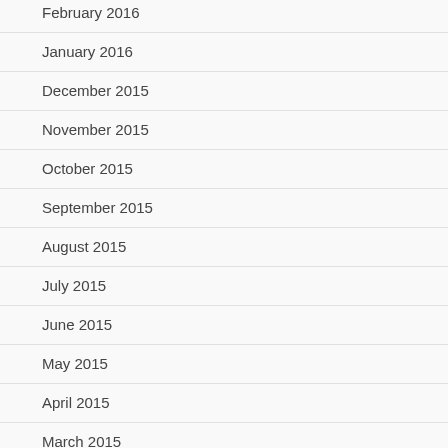February 2016
January 2016
December 2015
November 2015
October 2015
September 2015
August 2015
July 2015
June 2015
May 2015
April 2015
March 2015